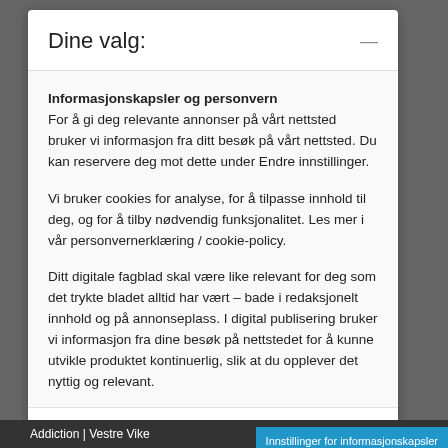Dine valg:
Informasjonskapsler og personvern
For å gi deg relevante annonser på vårt nettsted bruker vi informasjon fra ditt besøk på vårt nettsted. Du kan reservere deg mot dette under Endre innstillinger.
Vi bruker cookies for analyse, for å tilpasse innhold til deg, og for å tilby nødvendig funksjonalitet. Les mer i vår personvernerklæring / cookie-policy.
Ditt digitale fagblad skal være like relevant for deg som det trykte bladet alltid har vært – bade i redaksjonelt innhold og på annonseplass. I digital publisering bruker vi informasjon fra dine besøk på nettstedet for å kunne utvikle produktet kontinuerlig, slik at du opplever det nyttig og relevant.
Godta valgte
Innstillinger
Addiction | Vestre Vike  Innstillinger for informasjonskapsler